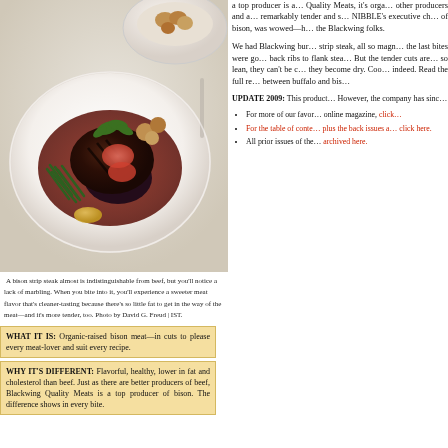[Figure (photo): A bison strip steak plated on a white round plate with green beans, roasted potatoes, garnish, and red sauce. A second bowl is visible in the background.]
A bison strip steak almost is indistinguishable from beef, but you'll notice a lack of marbling. When you bite into it, you'll experience a sweeter meat flavor that's cleaner-tasting because there's so little fat to get in the way of the meat—and it's more tender, too. Photo by David G. Freud | IST.
a top producer is a … Quality Meats, it's orga… other producers and a… remarkably tender and s… NIBBLE's executive ch… of bison, was wowed—h… the Blackwing folks.
We had Blackwing bur… strip steak, all so magn… the last bites were go… back ribs to flank stea… But the tender cuts are… so lean, they can't be c… they become dry. Coo… indeed. Read the full re… between buffalo and bis…
UPDATE 2009: This product… However, the company has sinc…
For more of our favor… online magazine, click…
For the table of conte… plus the back issues a… click here.
All prior issues of the… archived here.
WHAT IT IS: Organic-raised bison meat—in cuts to please every meat-lover and suit every recipe.
WHY IT'S DIFFERENT: Flavorful, healthy, lower in fat and cholesterol than beef. Just as there are better producers of beef, Blackwing Quality Meats is a top producer of bison. The difference shows in every bite.